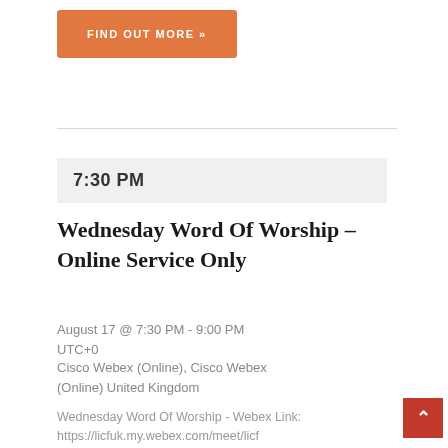FIND OUT MORE »
7:30 PM
Wednesday Word Of Worship – Online Service Only
August 17 @ 7:30 PM - 9:00 PM UTC+0
Cisco Webex (Online), Cisco Webex (Online) United Kingdom
Wednesday Word Of Worship - Webex Link:
https://licfuk.my.webex.com/meet/licf LET'S GO DEEPER! Wednesday Evening Bible Studies @ 7:30 pm On Wednesday's